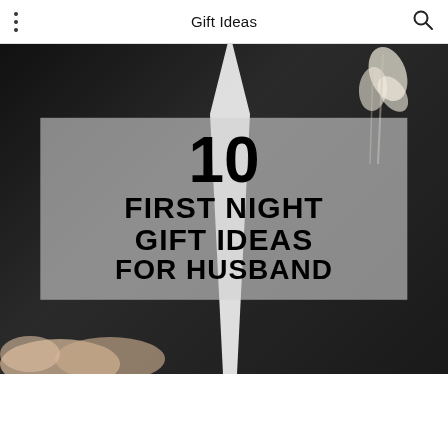Gift Ideas
[Figure (photo): Wedding couple photo: man in black suit with white pocket square/tie and dried pampas grass boutonniere, woman's hands visible at bottom left holding his hands, with a large frosted overlay box displaying the text '10 FIRST NIGHT GIFT IDEAS FOR HUSBAND']
10 FIRST NIGHT GIFT IDEAS FOR HUSBAND